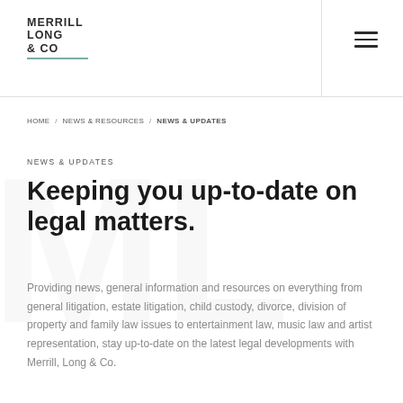MERRILL LONG & CO
HOME / NEWS & RESOURCES / NEWS & UPDATES
NEWS & UPDATES
Keeping you up-to-date on legal matters.
Providing news, general information and resources on everything from general litigation, estate litigation, child custody, divorce, division of property and family law issues to entertainment law, music law and artist representation, stay up-to-date on the latest legal developments with Merrill, Long & Co.